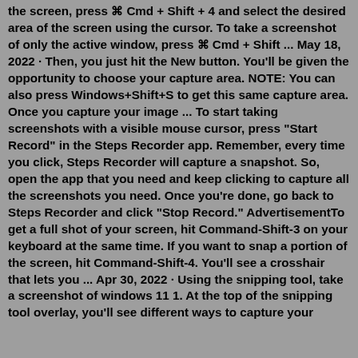the screen, press ⌘ Cmd + Shift + 4 and select the desired area of the screen using the cursor. To take a screenshot of only the active window, press ⌘ Cmd + Shift ... May 18, 2022 · Then, you just hit the New button. You'll be given the opportunity to choose your capture area. NOTE: You can also press Windows+Shift+S to get this same capture area. Once you capture your image ... To start taking screenshots with a visible mouse cursor, press "Start Record" in the Steps Recorder app. Remember, every time you click, Steps Recorder will capture a snapshot. So, open the app that you need and keep clicking to capture all the screenshots you need. Once you're done, go back to Steps Recorder and click "Stop Record." AdvertisementTo get a full shot of your screen, hit Command-Shift-3 on your keyboard at the same time. If you want to snap a portion of the screen, hit Command-Shift-4. You'll see a crosshair that lets you ... Apr 30, 2022 · Using the snipping tool, take a screenshot of windows 11 1. At the top of the snipping tool overlay, you'll see different ways to capture your